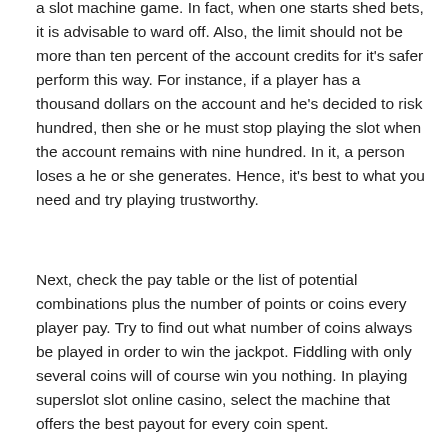a slot machine game. In fact, when one starts shed bets, it is advisable to ward off. Also, the limit should not be more than ten percent of the account credits for it's safer perform this way. For instance, if a player has a thousand dollars on the account and he's decided to risk hundred, then she or he must stop playing the slot when the account remains with nine hundred. In it, a person loses a he or she generates. Hence, it's best to what you need and try playing trustworthy.
Next, check the pay table or the list of potential combinations plus the number of points or coins every player pay. Try to find out what number of coins always be played in order to win the jackpot. Fiddling with only several coins will of course win you nothing. In playing superslot slot online casino, select the machine that offers the best payout for every coin spent.